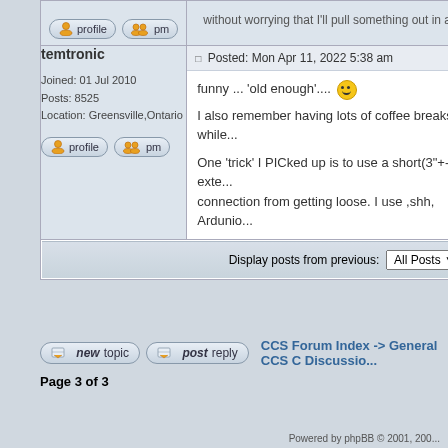without worrying that I'll pull something out in a p...
[Figure (screenshot): Profile and PM buttons for first user]
temtronic
Posted: Mon Apr 11, 2022 5:38 am
Joined: 01 Jul 2010
Posts: 8525
Location: Greensville,Ontario
funny ... 'old enough'.... [smiley]
I also remember having lots of coffee breaks while...

One 'trick' I PICked up is to use a short(3"+-) exte... connection from getting loose. I use ,shh, Ardunio...
[Figure (screenshot): Profile and PM buttons for temtronic]
Display posts from previous: All Posts
[Figure (screenshot): New topic and Post reply buttons, CCS Forum Index -> General CCS C Discussio...]
Page 3 of 3
Powered by phpBB © 2001, 200...